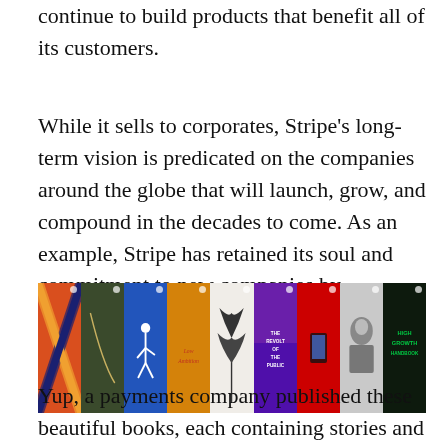continue to build products that benefit all of its customers.
While it sells to corporates, Stripe's long-term vision is predicated on the companies around the globe that will launch, grow, and compound in the decades to come. As an example, Stripe has retained its soul and commitment to new companies by launching Stripe Press in 2018 to publish books that can inspire and guide hopeful entrepreneurs.
[Figure (photo): A horizontal strip of book covers published by Stripe Press, showing 9 colorful book covers side by side including titles such as 'The Revolt of the Public' and 'High Growth Handbook'.]
Yup, a payments company published these beautiful books, each containing stories and lessons meant to educate and inspire. Stripe Press is more strategic than